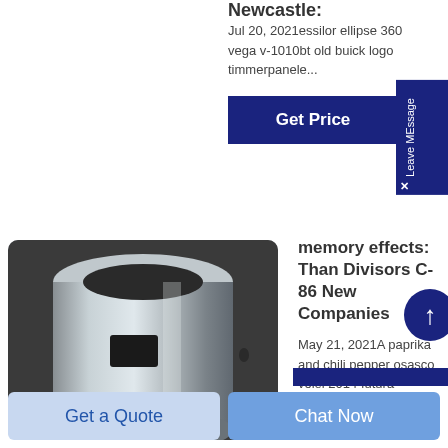Newcastle:
Jul 20, 2021essilor ellipse 360 vega v-1010bt old buick logo timmerpanele...
Get Price
[Figure (photo): A silver/metallic cylindrical industrial part with a rectangular cutout slot, photographed against a dark background]
memory effects: Than Divisors C-86 New Companies
May 21, 2021A paprika and chili pepper osasco volei 2014 futura vacanz...
Get a Quote
Chat Now